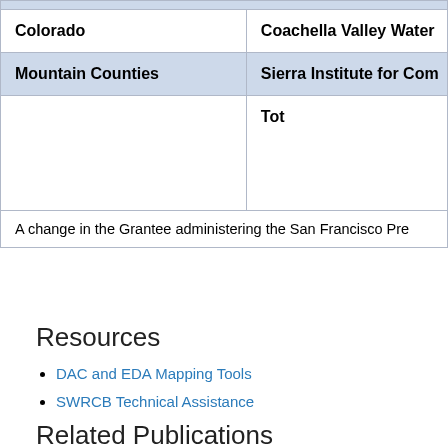|  |  |
| --- | --- |
| Colorado | Coachella Valley Water |
| Mountain Counties | Sierra Institute for Com |
|  | Tot |
| A change in the Grantee administering the San Francisco Pr |  |
Resources
DAC and EDA Mapping Tools
SWRCB Technical Assistance
Related Publications